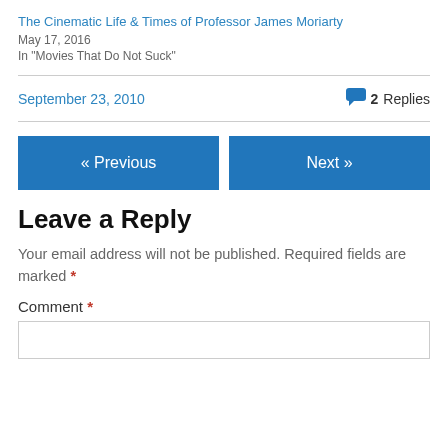The Cinematic Life & Times of Professor James Moriarty
May 17, 2016
In "Movies That Do Not Suck"
September 23, 2010   2 Replies
« Previous
Next »
Leave a Reply
Your email address will not be published. Required fields are marked *
Comment *